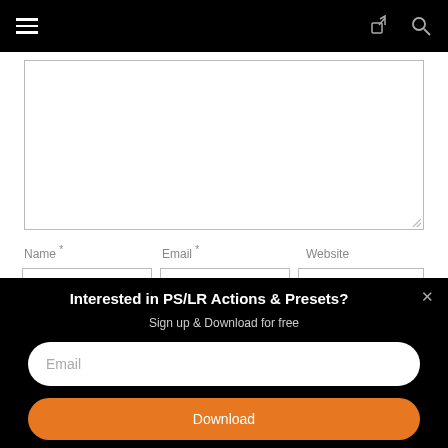[Figure (screenshot): Mobile website navigation bar with hamburger menu on left, share and search icons on right, on black background]
[Figure (screenshot): Web form with a large textarea input box and three form fields: Name *, Email *, Website]
Name *
Email *
Website
Interested in PS/LR Actions & Presets?
Sign up & Download for free
Email
Download